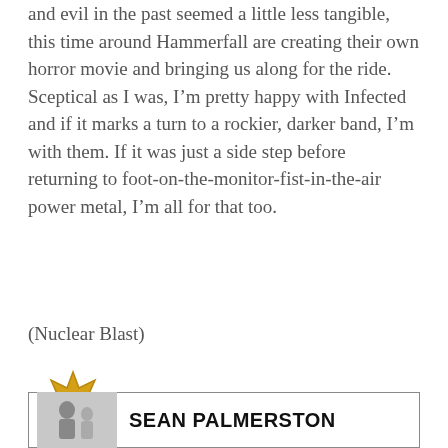and evil in the past seemed a little less tangible, this time around Hammerfall are creating their own horror movie and bringing us along for the ride. Sceptical as I was, I'm pretty happy with Infected and if it marks a turn to a rockier, darker band, I'm with them. If it was just a side step before returning to foot-on-the-monitor-fist-in-the-air power metal, I'm all for that too.
(Nuclear Blast)
[Figure (infographic): Gold star burst badge with rating 7.5]
[Figure (infographic): Author box with photo of Sean Palmerston and name text SEAN PALMERSTON]